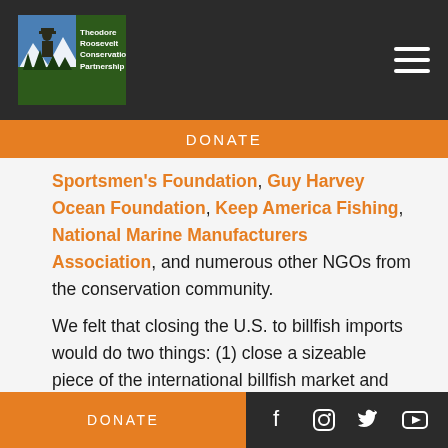[Figure (logo): Theodore Roosevelt Conservation Partnership logo with text]
DONATE
Sportsmen's Foundation, Guy Harvey Ocean Foundation, Keep America Fishing, National Marine Manufacturers Association, and numerous other NGOs from the conservation community.

We felt that closing the U.S. to billfish imports would do two things: (1) close a sizeable piece of the international billfish market and (2) position the U.S. to take a more aggressive approach to international billfish management and conservation. The Billfish Conservation Act already is making waves around the world, with groups in other countries considering
DONATE